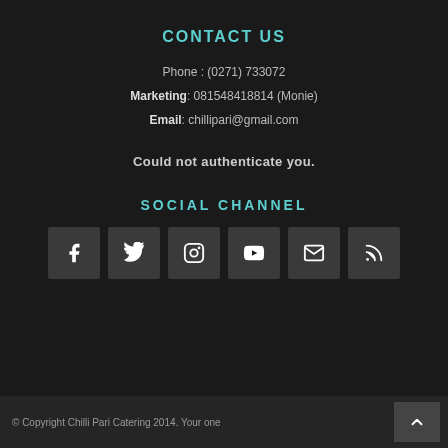CONTACT US
Phone : (0271) 733072
Marketing: 081548418814 (Monie)
Email: chillipari@gmail.com
Could not authenticate you.
SOCIAL CHANNEL
[Figure (infographic): Six social media icon buttons: Facebook, Twitter, Instagram, YouTube, Email/Envelope, RSS feed]
© Copyright Chilli Pari Catering 2014. Your one